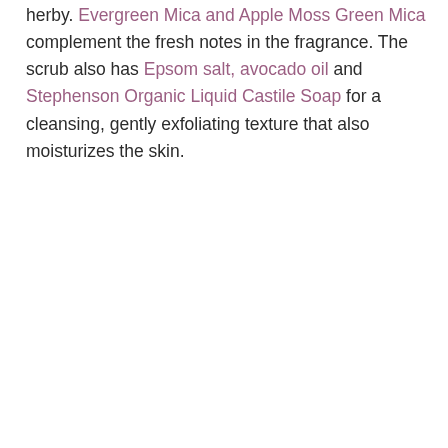herby. Evergreen Mica and Apple Moss Green Mica complement the fresh notes in the fragrance. The scrub also has Epsom salt, avocado oil and Stephenson Organic Liquid Castile Soap for a cleansing, gently exfoliating texture that also moisturizes the skin.